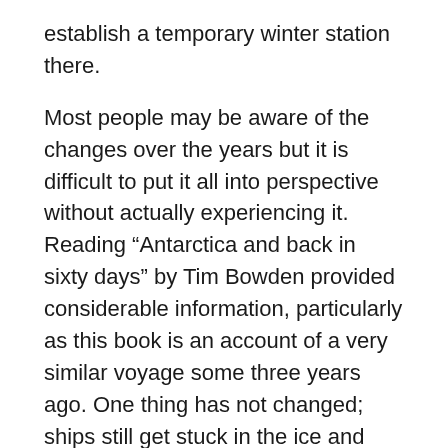establish a temporary winter station there.
Most people may be aware of the changes over the years but it is difficult to put it all into perspective without actually experiencing it. Reading “Antarctica and back in sixty days” by Tim Bowden provided considerable information, particularly as this book is an account of a very similar voyage some three years ago. One thing has not changed; ships still get stuck in the ice and due to delays on the previous voyage to Casey, our departkure was delayed so Voyage 7 was shortened by eliminating oof-shore work at Mawson.
The Icebird is larger than the Dan ships (6433 tonne deadweight and 2505 tonne nett weight represents a factor of more than two). At 109.6m